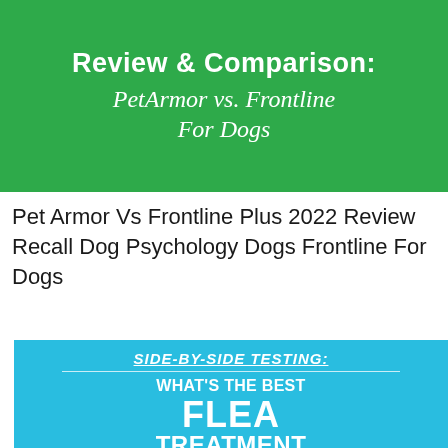[Figure (infographic): Green banner with bold white text 'Review & Comparison:' and italic script text 'PetArmor vs. Frontline For Dogs']
Pet Armor Vs Frontline Plus 2022 Review Recall Dog Psychology Dogs Frontline For Dogs
[Figure (infographic): Cyan/blue banner with italic underlined text 'SIDE-BY-SIDE TESTING:', a horizontal rule, then bold white large text 'WHAT'S THE BEST FLEA TREATMENT' and script pink text 'For Your Dog?' partially visible]